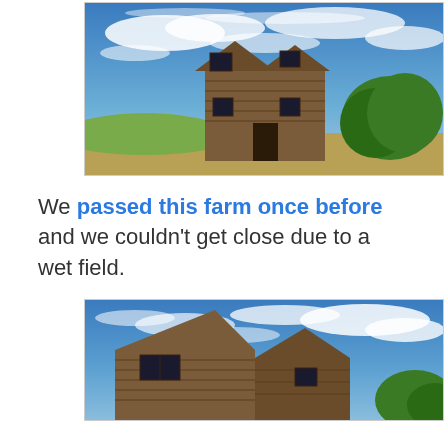[Figure (photo): Photograph of an abandoned two-story wooden farmhouse in a field with green hills and dramatic blue sky with wispy white clouds. Green trees visible on the right side.]
We passed this farm once before and we couldn't get close due to a wet field.
[Figure (photo): Close-up photograph of the same abandoned farmhouse roofline and upper story under a blue sky with white clouds. Green foliage visible at the right edge.]